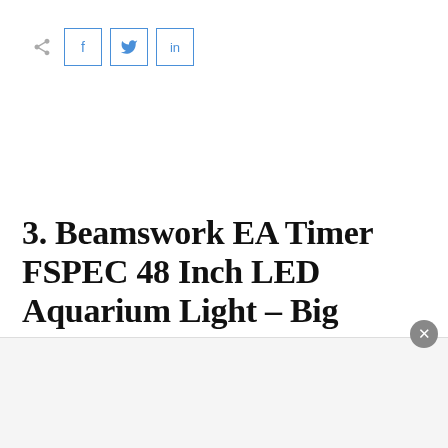[Figure (screenshot): Social share bar with share icon, Facebook (f), Twitter (bird), and LinkedIn (in) buttons with blue borders]
3. Beamswork EA Timer FSPEC 48 Inch LED Aquarium Light – Big
[Figure (other): Advertisement bar at bottom of page with close (x) button]